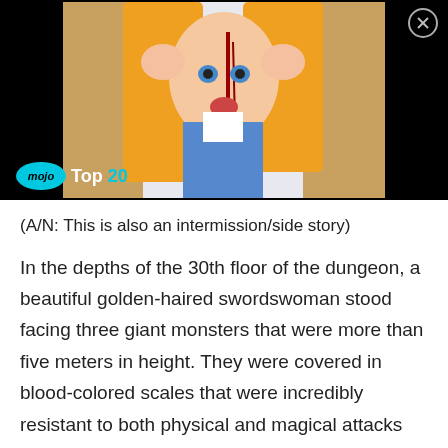[Figure (screenshot): Anime screenshot showing a golden-haired female character with blood, overlaid with WatchMojo 'Top 20' branding logo in teal and a close button in the top right corner. Black background borders the image.]
(A/N: This is also an intermission/side story)
In the depths of the 30th floor of the dungeon, a beautiful golden-haired swordswoman stood facing three giant monsters that were more than five meters in height. They were covered in blood-colored scales that were incredibly resistant to both physical and magical attacks and appeared reminiscent of large dinosaurs